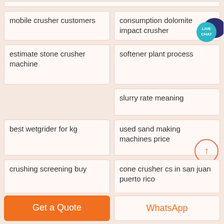mobile crusher customers
consumption dolomite impact crusher
estimate stone crusher machine
softener plant process
slurry rate meaning
best wetgrider for kg
used sand making machines price
crushing screening buy
cone crusher cs in san juan puerto rico
Get a Quote
WhatsApp